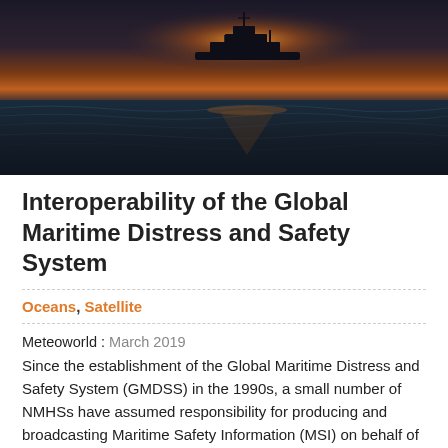[Figure (photo): A ship silhouetted against an orange sunset sky on a dark, rippling ocean. The sky transitions from orange near the horizon to darker tones above.]
Interoperability of the Global Maritime Distress and Safety System
Oceans, Satellite
Meteoworld : March 2019
Since the establishment of the Global Maritime Distress and Safety System (GMDSS) in the 1990s, a small number of NMHSs have assumed responsibility for producing and broadcasting Maritime Safety Information (MSI) on behalf of WMO Members. As of today, the world's ocean is fully covered under 21 Meteorological Areas (METAREAs), coordinated by 19 countries that invest human,